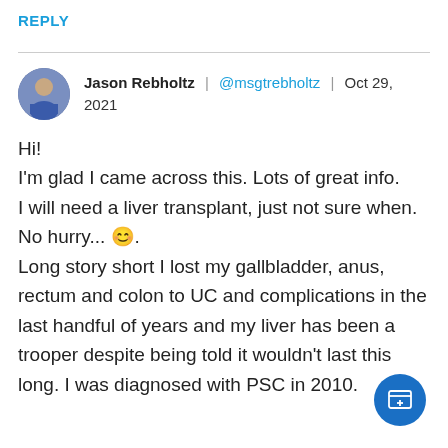REPLY
Jason Rebholtz | @msgtrebholtz | Oct 29, 2021
Hi!
I'm glad I came across this. Lots of great info.
I will need a liver transplant, just not sure when. No hurry... 😊.
Long story short I lost my gallbladder, anus, rectum and colon to UC and complications in the last handful of years and my liver has been a trooper despite being told it wouldn't last this long. I was diagnosed with PSC in 2010.